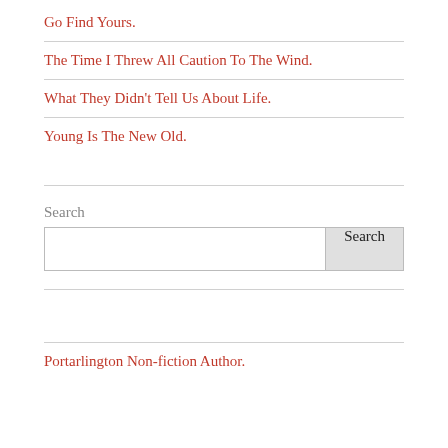Go Find Yours.
The Time I Threw All Caution To The Wind.
What They Didn't Tell Us About Life.
Young Is The New Old.
Search
Portarlington Non-fiction Author.